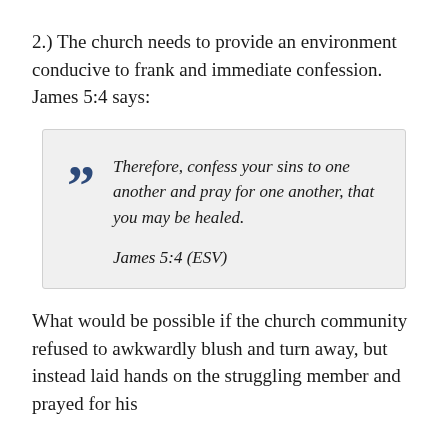2.) The church needs to provide an environment conducive to frank and immediate confession. James 5:4 says:
Therefore, confess your sins to one another and pray for one another, that you may be healed.

James 5:4 (ESV)
What would be possible if the church community refused to awkwardly blush and turn away, but instead laid hands on the struggling member and prayed for his